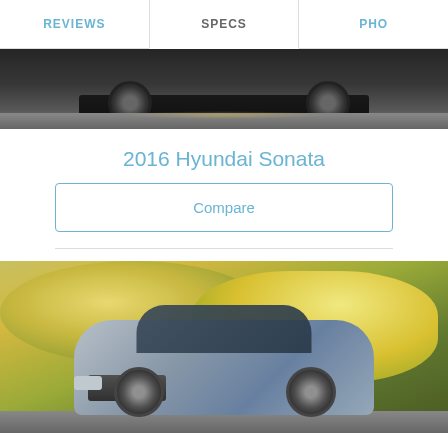REVIEWS | SPECS | PHO...
[Figure (photo): Bottom portion of a car (Hyundai Sonata) shown against a dark road background, cropped showing the lower body and wheels]
2016 Hyundai Sonata
Compare
[Figure (photo): Front three-quarter view of a silver Subaru Legacy sedan against a background of yellow autumn foliage trees]